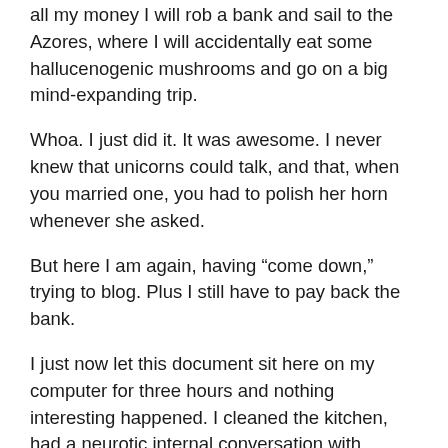all my money I will rob a bank and sail to the Azores, where I will accidentally eat some hallucenogenic mushrooms and go on a big mind-expanding trip.
Whoa. I just did it. It was awesome. I never knew that unicorns could talk, and that, when you married one, you had to polish her horn whenever she asked.
But here I am again, having “come down,” trying to blog. Plus I still have to pay back the bank.
I just now let this document sit here on my computer for three hours and nothing interesting happened. I cleaned the kitchen, had a neurotic internal conversation with someone I used to know, let the puppy outside, resumed my conversation, finished the kitchen, went to the couch, fell asleep, had no dreams, woke up, and came trudging